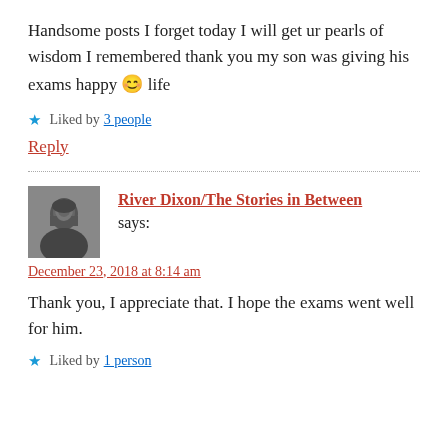Handsome posts I forget today I will get ur pearls of wisdom I remembered thank you my son was giving his exams happy 😊 life
Liked by 3 people
Reply
River Dixon/The Stories in Between says:
December 23, 2018 at 8:14 am
Thank you, I appreciate that. I hope the exams went well for him.
Liked by 1 person